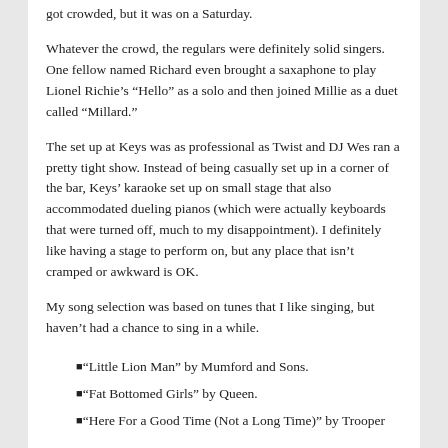got crowded, but it was on a Saturday.
Whatever the crowd, the regulars were definitely solid singers. One fellow named Richard even brought a saxaphone to play Lionel Richie’s “Hello” as a solo and then joined Millie as a duet called “Millard.”
The set up at Keys was as professional as Twist and DJ Wes ran a pretty tight show. Instead of being casually set up in a corner of the bar, Keys’ karaoke set up on small stage that also accommodated dueling pianos (which were actually keyboards that were turned off, much to my disappointment). I definitely like having a stage to perform on, but any place that isn’t cramped or awkward is OK.
My song selection was based on tunes that I like singing, but haven’t had a chance to sing in a while.
“Little Lion Man” by Mumford and Sons.
“Fat Bottomed Girls” by Queen.
“Here For a Good Time (Not a Long Time)” by Trooper